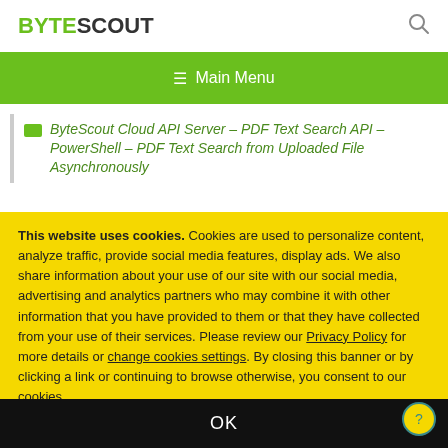BYTESCOUT
≡  Main Menu
ByteScout Cloud API Server – PDF Text Search API – PowerShell – PDF Text Search from Uploaded File Asynchronously
This website uses cookies. Cookies are used to personalize content, analyze traffic, provide social media features, display ads. We also share information about your use of our site with our social media, advertising and analytics partners who may combine it with other information that you have provided to them or that they have collected from your use of their services. Please review our Privacy Policy for more details or change cookies settings. By closing this banner or by clicking a link or continuing to browse otherwise, you consent to our cookies.
OK